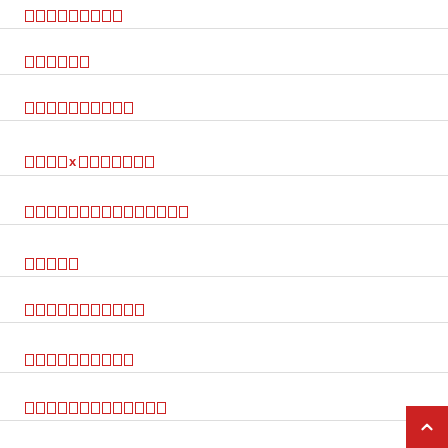[tofu x9]
[tofu x6]
[tofu x10]
[tofu x4]x[tofu x7]
[tofu x15]
[tofu x5]
[tofu x11]
[tofu x10]
[tofu x13]